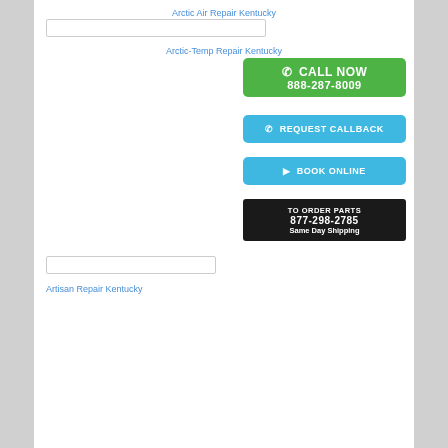Arctic Air Repair Kentucky
[Figure (screenshot): Search box input field]
Arctic-Temp Repair Kentucky
[Figure (screenshot): Green CALL NOW button with phone icon and number 888-287-8009]
[Figure (screenshot): Blue REQUEST CALLBACK button with phone icon]
[Figure (screenshot): Blue BOOK ONLINE button with play icon]
[Figure (screenshot): Black TO ORDER PARTS panel with number 877-298-2785 and Same Day Shipping]
[Figure (screenshot): Search box input field]
Artisan Repair Kentucky